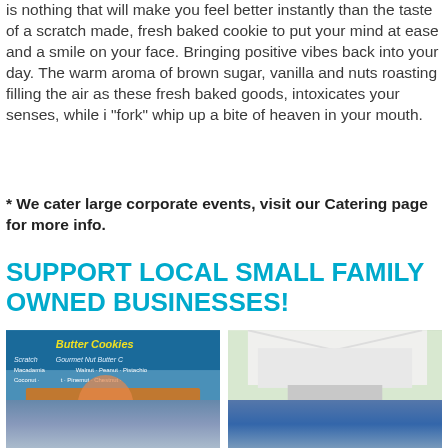is nothing that will make you feel better instantly than the taste of a scratch made, fresh baked cookie to put your mind at ease and a smile on your face. Bringing positive vibes back into your day. The warm aroma of brown sugar, vanilla and nuts roasting filling the air as these fresh baked goods, intoxicates your senses, while i "fork" whip up a bite of heaven in your mouth.
* We cater large corporate events, visit our Catering page for more info.
SUPPORT LOCAL SMALL FAMILY OWNED BUSINESSES!
[Figure (photo): Photo of a woman in a floral apron at a cookie booth with a blue banner reading 'Butter Cookies' and 'Scratch Gourmet Nut Butter Cookies' listing Macadamia, Walnut, Peanut, Pistachio, Coconut, Pinemut, Chestnut]
[Figure (photo): Photo of a vendor at an outdoor market under a white tent, with cookie product boxes displayed on a table]
[Figure (photo): Partial photo at bottom left showing a street or building exterior]
[Figure (photo): Partial photo at bottom right showing an outdoor scene]